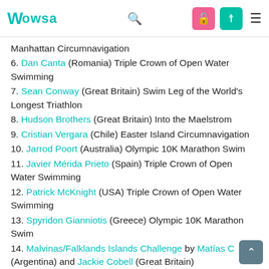WOWSA
Manhattan Circumnavigation
6. Dan Canta (Romania) Triple Crown of Open Water Swimming
7. Sean Conway (Great Britain) Swim Leg of the World's Longest Triathlon
8. Hudson Brothers (Great Britain) Into the Maelstrom
9. Cristian Vergara (Chile) Easter Island Circumnavigation
10. Jarrod Poort (Australia) Olympic 10K Marathon Swim
11. Javier Mérida Prieto (Spain) Triple Crown of Open Water Swimming
12. Patrick McKnight (USA) Triple Crown of Open Water Swimming
13. Spyridon Gianniotis (Greece) Olympic 10K Marathon Swim
14. Malvinas/Falklands Islands Challenge by Matías C (Argentina) and Jackie Cobell (Great Britain)